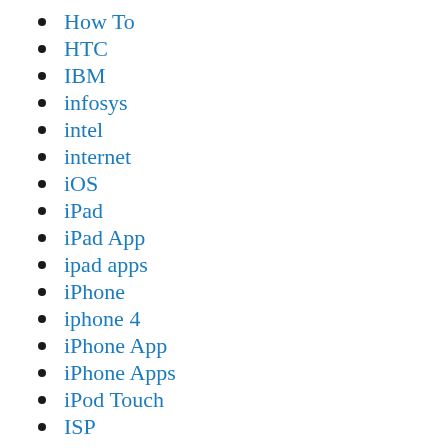How To
HTC
IBM
infosys
intel
internet
iOS
iPad
iPad App
ipad apps
iPhone
iphone 4
iPhone App
iPhone Apps
iPod Touch
ISP